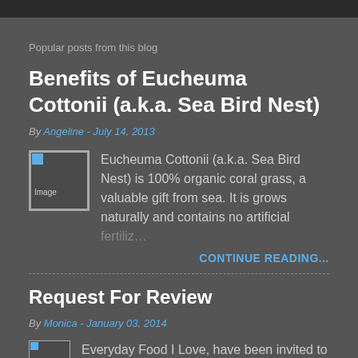Popular posts from this blog
Benefits of Eucheuma Cottonii (a.k.a. Sea Bird Nest)
By Angeline - July 14, 2013
[Figure (photo): Placeholder image thumbnail for blog post]
Eucheuma Cottonii (a.k.a. Sea Bird Nest) is 100% organic coral grass, a valuable gift from sea. It is grows naturally and contains no artificial fertiliz…
CONTINUE READING...
Request For Review
By Monica - January 03, 2014
[Figure (photo): Placeholder image thumbnail for second blog post]
Everyday Food I Love, have been invited to review